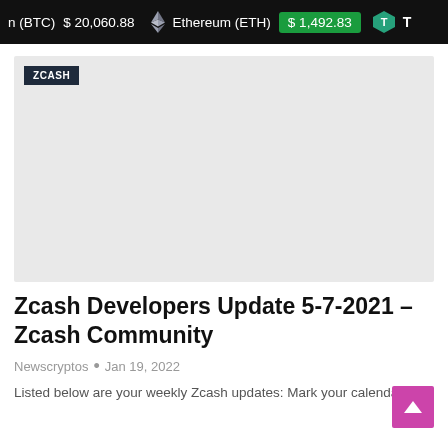n (BTC)  $ 20,060.88   Ethereum (ETH)  $ 1,492.83  T
[Figure (photo): Zcash article header image placeholder, light gray background with ZCASH badge in top-left corner]
Zcash Developers Update 5-7-2021 – Zcash Community
Newscryptos  •  Jan 19, 2022
Listed below are your weekly Zcash updates: Mark your calendars